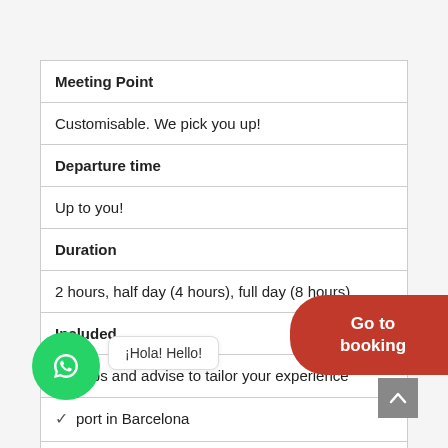| Meeting Point |  |
| Customisable. We pick you up! |  |
| Departure time |  |
| Up to you! |  |
| Duration |  |
| 2 hours, half day (4 hours), full day (8 hours) |  |
| Included |  |
| ✓ Tips and advise to tailor your experience |  |
| ✓ ...port in Barcelona |  |
| ✓ ...r |  |
| ✓ Guided visit in the language of your choice |  |
Go to booking
¡Hola! Hello!